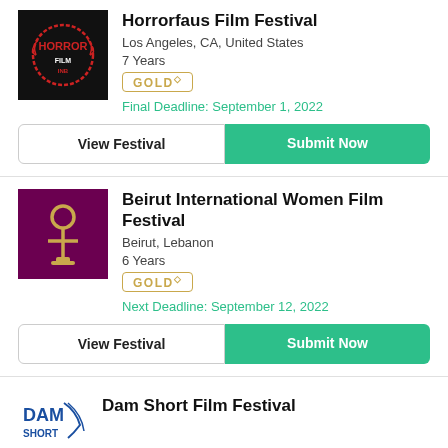[Figure (logo): Horrorfaus Film Festival logo — dark background with red horror text]
Horrorfaus Film Festival
Los Angeles, CA, United States
7 Years
GOLD◇
Final Deadline: September 1, 2022
View Festival
Submit Now
[Figure (logo): Beirut International Women Film Festival logo — dark purple background with gold ankh symbol]
Beirut International Women Film Festival
Beirut, Lebanon
6 Years
GOLD◇
Next Deadline: September 12, 2022
View Festival
Submit Now
[Figure (logo): Dam Short Film Festival logo — blue text logo]
Dam Short Film Festival